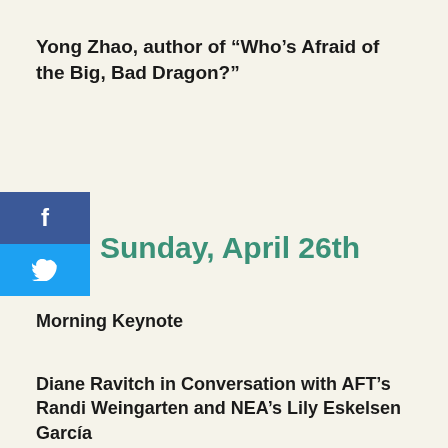Yong Zhao, author of “Who’s Afraid of the Big, Bad Dragon?”
Sunday, April 26th
Morning Keynote
Diane Ravitch in Conversation with AFT’s Randi Weingarten and NEA’s Lily Eskelsen García